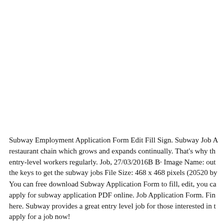Subway Employment Application Form Edit Fill Sign. Subway Job A restaurant chain which grows and expands continually. That's why th entry-level workers regularly. Job, 27/03/2016B B· Image Name: out the keys to get the subway jobs File Size: 468 x 468 pixels (20520 by
You can free download Subway Application Form to fill, edit, you ca apply for subway application PDF online. Job Application Form. Fin here. Subway provides a great entry level job for those interested in t apply for a job now!